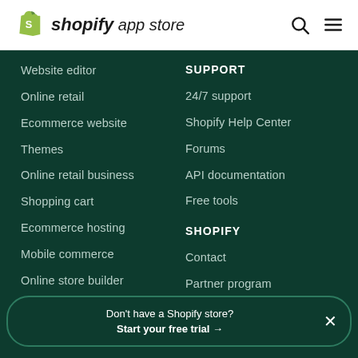shopify app store
Website editor
Online retail
Ecommerce website
Themes
Online retail business
Shopping cart
Ecommerce hosting
Mobile commerce
Online store builder
Ecommerce software
Websites for sale
SUPPORT
24/7 support
Shopify Help Center
Forums
API documentation
Free tools
SHOPIFY
Contact
Partner program
Investors
Don't have a Shopify store? Start your free trial →